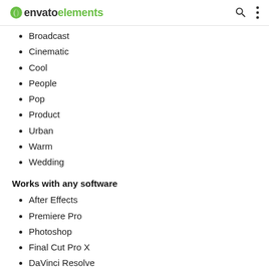envato elements
Broadcast
Cinematic
Cool
People
Pop
Product
Urban
Warm
Wedding
Works with any software
After Effects
Premiere Pro
Photoshop
Final Cut Pro X
DaVinci Resolve
Avid Media Composer
Sony Vegas
Lightroom Classic